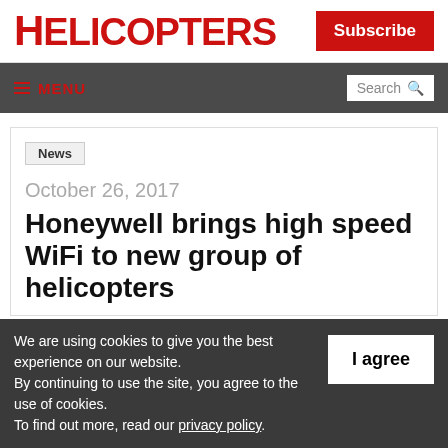HELICOPTERS
Subscribe
≡ MENU | Search
News
October 26, 2017
Honeywell brings high speed WiFi to new group of helicopters
We are using cookies to give you the best experience on our website. By continuing to use the site, you agree to the use of cookies. To find out more, read our privacy policy.